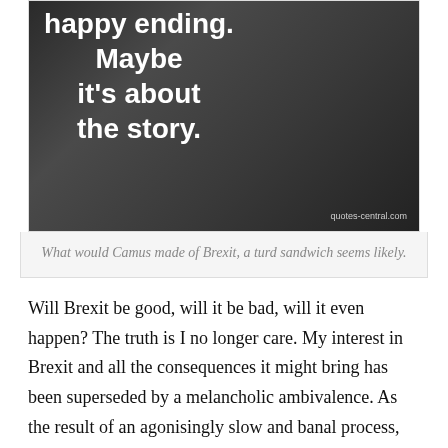[Figure (photo): Black and white photo of a man smoking, with white bold text overlay reading 'happy ending. Maybe it's about the story.' and watermark 'quotes-central.com' in bottom right.]
What would Camus made of Brexit, a turd sandwich seems likely.
Will Brexit be good, will it be bad, will it even happen? The truth is I no longer care. My interest in Brexit and all the consequences it might bring has been superseded by a melancholic ambivalence. As the result of an agonisingly slow and banal process, I've learned that I'll find no more meaning in Brexit than I'll find in a Dan Brown novel. Whether you're a